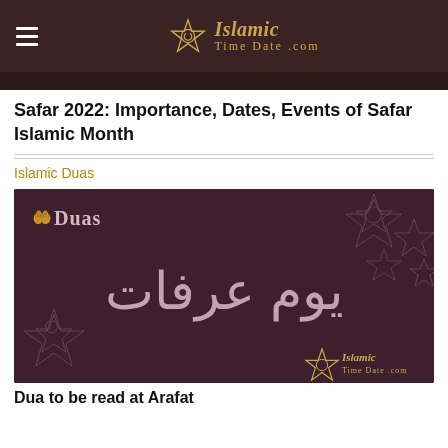Islamic Time Date .com
Safar 2022: Importance, Dates, Events of Safar Islamic Month
Islamic Duas
[Figure (illustration): Dark brownish-purple banner image with Arabic calligraphy text 'Yawm Arafat' in the center, geometric Islamic star patterns on sides, small hands icon and 'Duas' text in top left, and IslamicTimeDate.com logo in bottom right.]
Dua to be read at Arafat